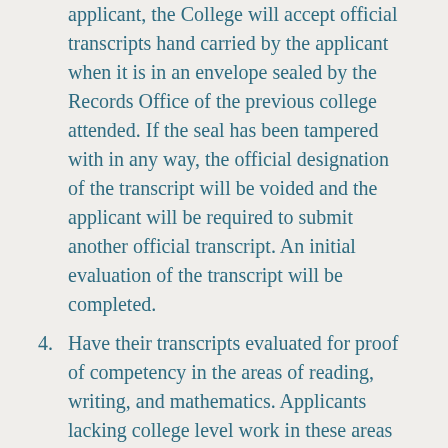applicant, the College will accept official transcripts hand carried by the applicant when it is in an envelope sealed by the Records Office of the previous college attended. If the seal has been tampered with in any way, the official designation of the transcript will be voided and the applicant will be required to submit another official transcript. An initial evaluation of the transcript will be completed.
4. Have their transcripts evaluated for proof of competency in the areas of reading, writing, and mathematics. Applicants lacking college level work in these areas will be required to undergo assessment.
5. If transfer credit for a particular course is not granted, the student may appeal this decision by filing a “Petition to Evaluate Transfer Work” in the Office of Admissions and Records. The student